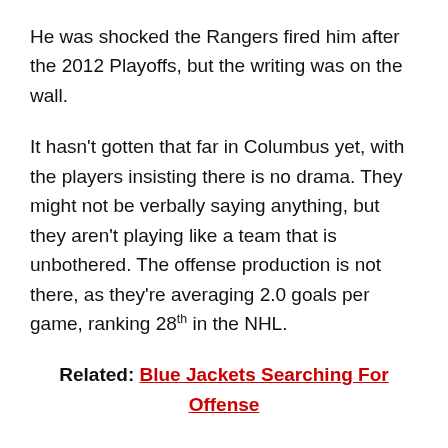He was shocked the Rangers fired him after the 2012 Playoffs, but the writing was on the wall.
It hasn't gotten that far in Columbus yet, with the players insisting there is no drama. They might not be verbally saying anything, but they aren't playing like a team that is unbothered. The offense production is not there, as they're averaging 2.0 goals per game, ranking 28th in the NHL.
Related: Blue Jackets Searching For Offense
The team's core hasn't fared well. Seth Jones, Zach Werenski, Cam Atkinson, and Nick Foligno have a combined three points this season. It's getting late early in Columbus. And Tortorella has to decide if teaching Dubois a lesson is worth losing his locker room. History is not on